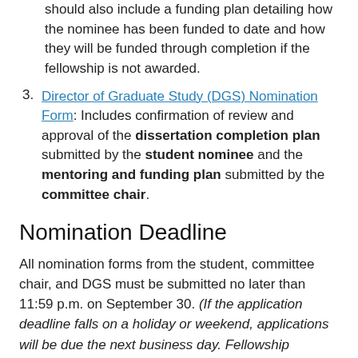should also include a funding plan detailing how the nominee has been funded to date and how they will be funded through completion if the fellowship is not awarded.
3. Director of Graduate Study (DGS) Nomination Form: Includes confirmation of review and approval of the dissertation completion plan submitted by the student nominee and the mentoring and funding plan submitted by the committee chair.
Nomination Deadline
All nomination forms from the student, committee chair, and DGS must be submitted no later than 11:59 p.m. on September 30. (If the application deadline falls on a holiday or weekend, applications will be due the next business day. Fellowship submissions will